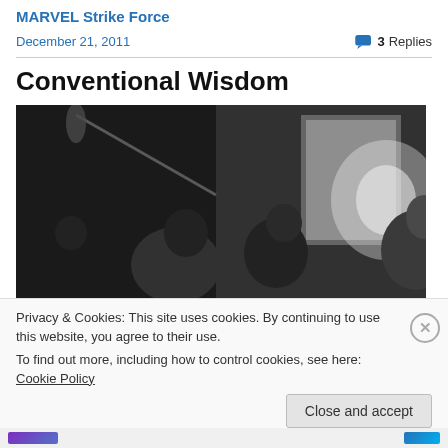MARVEL Strike Force
December 21, 2011
3 Replies
Conventional Wisdom
[Figure (photo): Black and white photograph of people at what appears to be a convention or event, with microphone booms and lighting equipment visible.]
Privacy & Cookies: This site uses cookies. By continuing to use this website, you agree to their use.
To find out more, including how to control cookies, see here: Cookie Policy
Close and accept